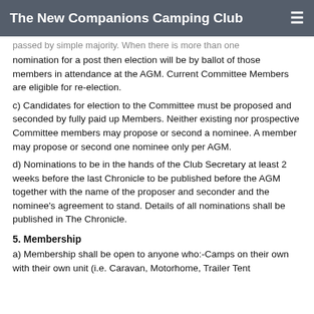The New Companions Camping Club
passed by simple majority. When there is more than one nomination for a post then election will be by ballot of those members in attendance at the AGM. Current Committee Members are eligible for re-election.
c) Candidates for election to the Committee must be proposed and seconded by fully paid up Members. Neither existing nor prospective Committee members may propose or second a nominee. A member may propose or second one nominee only per AGM.
d) Nominations to be in the hands of the Club Secretary at least 2 weeks before the last Chronicle to be published before the AGM together with the name of the proposer and seconder and the nominee's agreement to stand. Details of all nominations shall be published in The Chronicle.
5. Membership
a) Membership shall be open to anyone who:-Camps on their own with their own unit (i.e. Caravan, Motorhome, Trailer Tent